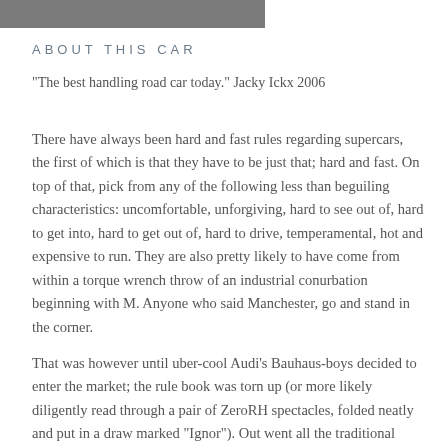[Figure (photo): Partial photo strip visible at top of page, cropped image of a car]
ABOUT THIS CAR
"The best handling road car today." Jacky Ickx 2006
There have always been hard and fast rules regarding supercars, the first of which is that they have to be just that; hard and fast. On top of that, pick from any of the following less than beguiling characteristics: uncomfortable, unforgiving, hard to see out of, hard to get into, hard to get out of, hard to drive, temperamental, hot and expensive to run. They are also pretty likely to have come from within a torque wrench throw of an industrial conurbation beginning with M. Anyone who said Manchester, go and stand in the corner.
That was however until uber-cool Audi's Bauhaus-boys decided to enter the market; the rule book was torn up (or more likely diligently read through a pair of ZeroRH spectacles, folded neatly and put in a draw marked "Ignor"). Out went all the traditional